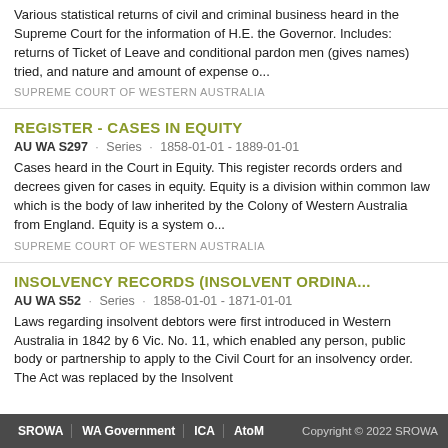Various statistical returns of civil and criminal business heard in the Supreme Court for the information of H.E. the Governor. Includes: returns of Ticket of Leave and conditional pardon men (gives names) tried, and nature and amount of expense o...
SUPREME COURT OF WESTERN AUSTRALIA
REGISTER - CASES IN EQUITY
AU WA S297 · Series · 1858-01-01 - 1889-01-01
Cases heard in the Court in Equity. This register records orders and decrees given for cases in equity. Equity is a division within common law which is the body of law inherited by the Colony of Western Australia from England. Equity is a system o...
SUPREME COURT OF WESTERN AUSTRALIA
INSOLVENCY RECORDS (INSOLVENT ORDINA...
AU WA S52 · Series · 1858-01-01 - 1871-01-01
Laws regarding insolvent debtors were first introduced in Western Australia in 1842 by 6 Vic. No. 11, which enabled any person, public body or partnership to apply to the Civil Court for an insolvency order. The Act was replaced by the Insolvent
SROWA | WA Government | ICA | AtoM | Copyright © 2022 SROWA